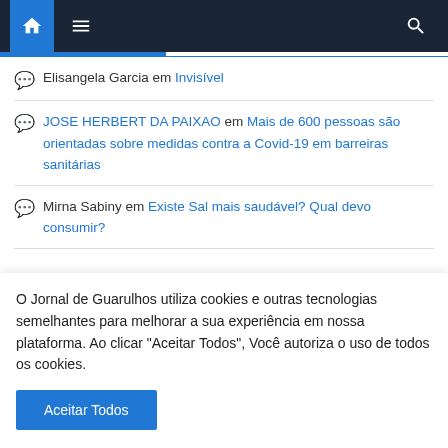Navigation bar with home, menu, and search icons
Elisangela Garcia em Invisível
JOSE HERBERT DA PAIXAO em Mais de 600 pessoas são orientadas sobre medidas contra a Covid-19 em barreiras sanitárias
Mirna Sabiny em Existe Sal mais saudável? Qual devo consumir?
O Jornal de Guarulhos utiliza cookies e outras tecnologias semelhantes para melhorar a sua experiência em nossa plataforma. Ao clicar "Aceitar Todos", Você autoriza o uso de todos os cookies.
Aceitar Todos